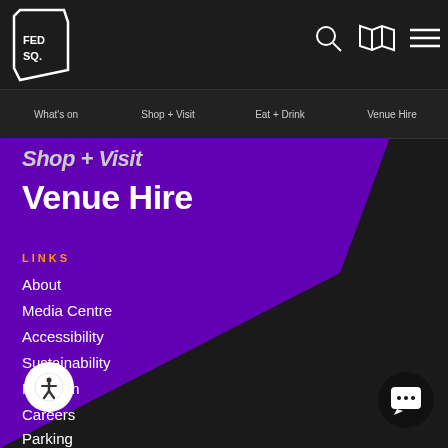[Figure (logo): Fed Sq logo — white geometric polygon shape with FED SQ. text]
What's on   Shop + Visit   Eat + Drink   Venue Hire
Shop + Visit
Venue Hire
LINKS
About
Media Centre
Accessibility
Sustainability
FedCam
Careers
Parking